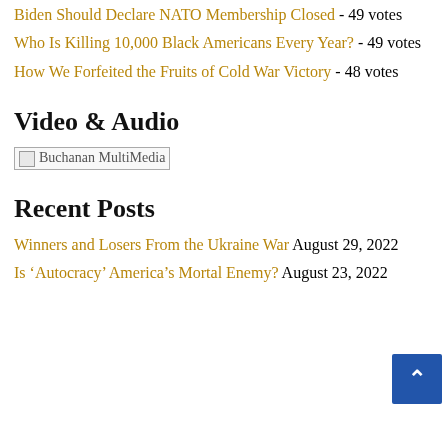Biden Should Declare NATO Membership Closed - 49 votes
Who Is Killing 10,000 Black Americans Every Year? - 49 votes
How We Forfeited the Fruits of Cold War Victory - 48 votes
Video & Audio
[Figure (other): Buchanan MultiMedia image placeholder]
Recent Posts
Winners and Losers From the Ukraine War August 29, 2022
Is ‘Autocracy’ America’s Mortal Enemy? August 23, 2022